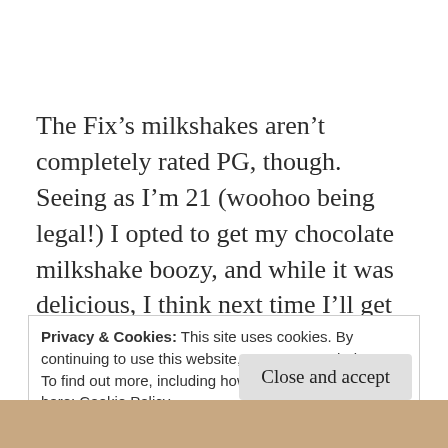The Fix’s milkshakes aren’t completely rated PG, though. Seeing as I’m 21 (woohoo being legal!) I opted to get my chocolate milkshake boozy, and while it was delicious, I think next time I’ll get mine sans alcohol. I certainly wasn’t looking to get tipsy during that dinner, and it was kind of strong. I would’ve preferred having a purely chocolatey experience.
Privacy & Cookies: This site uses cookies. By continuing to use this website, you agree to their use.
To find out more, including how to control cookies, see here: Cookie Policy
Close and accept
[Figure (photo): Partial photo strip at the bottom of the page showing food/restaurant imagery]